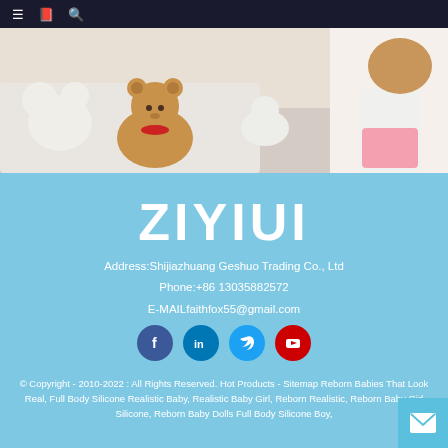Navigation bar with menu, bookmark, and search icons
[Figure (photo): Child with stuffed animal toys on a bed — hero banner image]
ZIYIUI
Address:Shijiazhuang Geshuo Trading Co., Ltd
Phone:+86 13035882572
E-MAILfaithfox55@gmail.com
[Figure (infographic): Social media icons row: Facebook (blue circle), LinkedIn (blue circle), Twitter (light blue circle), YouTube (red circle)]
© Copyright - 2010-2022 : All Rights Reserved. Hot Products - Sitemap Reborn Babies That Look Real, Full Body Silicone Realistic Baby, Realistic Baby Girl, Reborn Realistic, Reborn Baby Girl Silicone, Reborn Baby Dolls Full Body Silicone Boy,